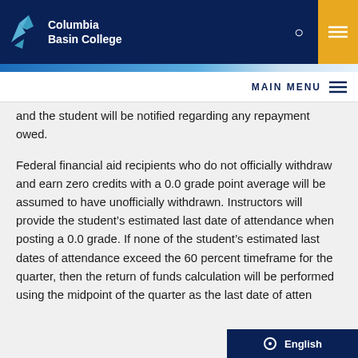Columbia Basin College
and the student will be notified regarding any repayment owed.
Federal financial aid recipients who do not officially withdraw and earn zero credits with a 0.0 grade point average will be assumed to have unofficially withdrawn. Instructors will provide the student’s estimated last date of attendance when posting a 0.0 grade. If none of the student’s estimated last dates of attendance exceed the 60 percent timeframe for the quarter, then the return of funds calculation will be performed using the midpoint of the quarter as the last date of attendance.